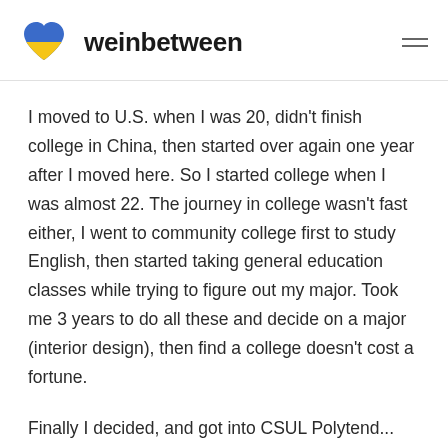weinbetween
I moved to U.S. when I was 20, didn't finish college in China, then started over again one year after I moved here. So I started college when I was almost 22. The journey in college wasn't fast either, I went to community college first to study English, then started taking general education classes while trying to figure out my major. Took me 3 years to do all these and decide on a major (interior design), then find a college doesn't cost a fortune.
Finally I decided, and got into CSUL Polytend... Cal State Int...